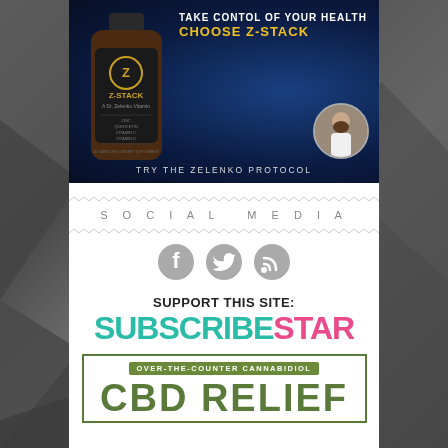[Figure (infographic): Z-Stack supplement advertisement with dark blue background, product bottle on left, text 'TAKE CONTOL OF YOUR HEALTH CHOOSE Z-STACK' in center-right, doctor circular headshot bottom right, 'TRY THE ZELENKO PROTOCOL' at bottom]
SOCIAL MEDIA
[Figure (infographic): Three social media icons: Facebook, Twitter, RSS feed]
SUPPORT THIS SITE:
[Figure (logo): SubscribeStar logo with SUBSCRIBE in teal/green and STAR in pink/magenta]
[Figure (infographic): CBD Relief advertisement box with olive green border, 'OVER-THE-COUNTER CANNABIDIOL' label, 'CBD RELIEF' text in large olive letters]